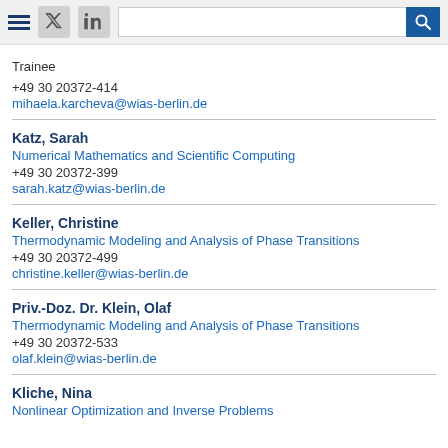WIAS Berlin staff directory page header with navigation icons and search bar
Trainee
+49 30 20372-414
mihaela.karcheva@wias-berlin.de
Katz, Sarah
Numerical Mathematics and Scientific Computing
+49 30 20372-399
sarah.katz@wias-berlin.de
Keller, Christine
Thermodynamic Modeling and Analysis of Phase Transitions
+49 30 20372-499
christine.keller@wias-berlin.de
Priv.-Doz. Dr. Klein, Olaf
Thermodynamic Modeling and Analysis of Phase Transitions
+49 30 20372-533
olaf.klein@wias-berlin.de
Kliche, Nina
Nonlinear Optimization and Inverse Problems